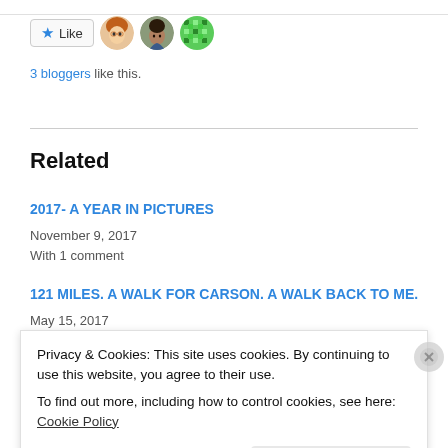[Figure (other): Like button with star icon and three avatar images (cartoon woman, photo of man, green pixel pattern)]
3 bloggers like this.
Related
2017- A YEAR IN PICTURES
November 9, 2017
With 1 comment
121 MILES. A WALK FOR CARSON. A WALK BACK TO ME.
May 15, 2017
INDECISIVE
Privacy & Cookies: This site uses cookies. By continuing to use this website, you agree to their use.
To find out more, including how to control cookies, see here: Cookie Policy